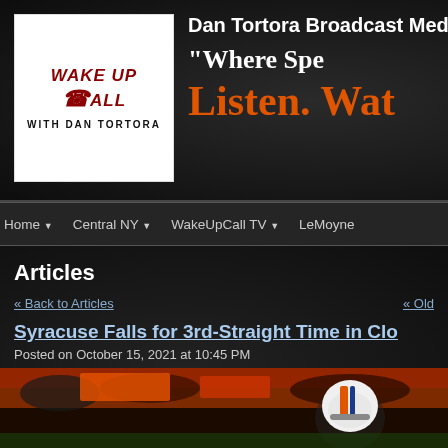[Figure (logo): Wake Up Call with Dan Tortora logo — white box with red italic text 'WAKE UP CALL' and phone icon, subtitle 'WITH DAN TORTORA']
Dan Tortora Broadcast Media
"Where Spe...
Listen. Wat...
Home | Central NY | WakeUpCall TV | LeMoyne
Articles
« Back to Articles
« Old
Syracuse Falls for 3rd-Straight Time in Clo...
Posted on October 15, 2021 at 10:45 PM
[Figure (photo): Football player in white helmet with orange and blue stripes on field, crowd visible in background with orange/red banners]